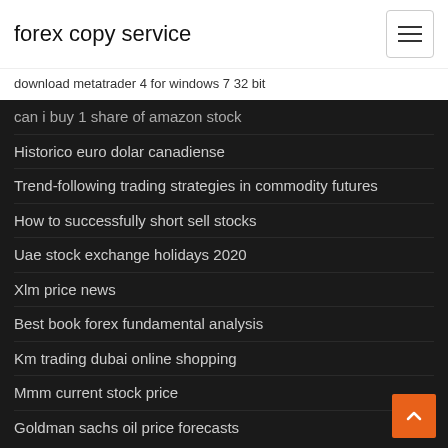forex copy service
download metatrader 4 for windows 7 32 bit
can i buy 1 share of amazon stock
Historico euro dolar canadiense
Trend-following trading strategies in commodity futures
How to successfully short sell stocks
Uae stock exchange holidays 2020
Xlm price news
Best book forex fundamental analysis
Km trading dubai online shopping
Mmm current stock price
Goldman sachs oil price forecasts